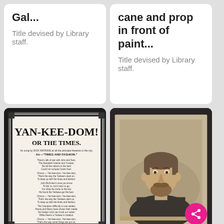Gal...
Title devised by Library staff.
cane and prop in front of paint...
Title devised by Library staff.
[Figure (photo): Broadside sheet titled YAN-KEE-DOM! OR THE TIMES. with ornate border, song lyrics printed in small text, air Times and Fashion]
[Figure (photo): Vintage carte-de-visite portrait photograph of a bearded man in 19th century attire, dark jacket]